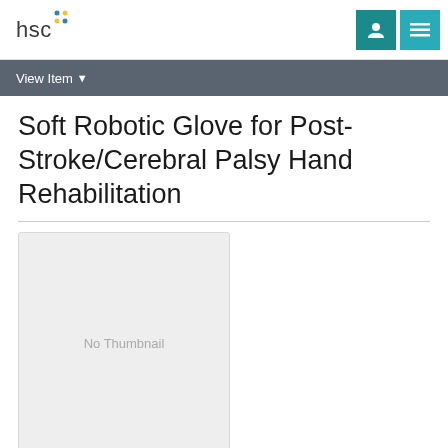hsc
View Item
Soft Robotic Glove for Post-Stroke/Cerebral Palsy Hand Rehabilitation
[Figure (other): No Thumbnail placeholder image box]